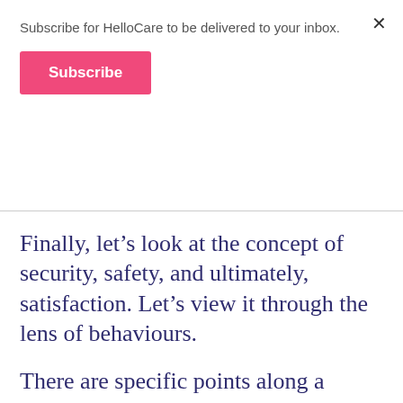Subscribe for HelloCare to be delivered to your inbox.
Subscribe
Finally, let’s look at the concept of security, safety, and ultimately, satisfaction. Let’s view it through the lens of behaviours.
There are specific points along a customer journey where the strategic, tangible activation of brand can provide a key competitive difference. Making sure that you address emotional needs along the customer journey, as well as practical, functional requirements for decision making.